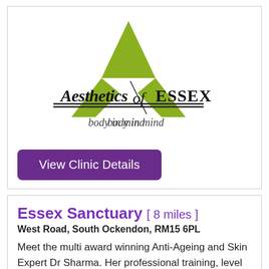[Figure (logo): Aesthetics of Essex logo with green letter A shape and text 'Aesthetics of ESSEX body in mind']
View Clinic Details
Essex Sanctuary [ 8 miles ]
West Road, South Ockendon, RM15 6PL
Meet the multi award winning Anti-Ageing and Skin Expert Dr Sharma. Her professional training, level of expertise and experience of 18 years will ensure that you are in safe hands achieving the best aesthetic look and feel you desire in a natural way leaving